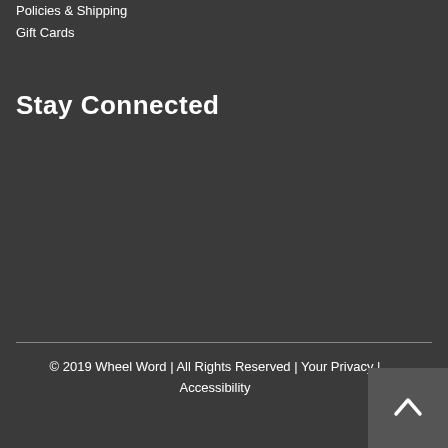Policies & Shipping
Gift Cards
Stay Connected
[Figure (other): Social media icons: Facebook, Twitter, Instagram]
© 2019 Wheel Word | All Rights Reserved | Your Privacy | Accessibility